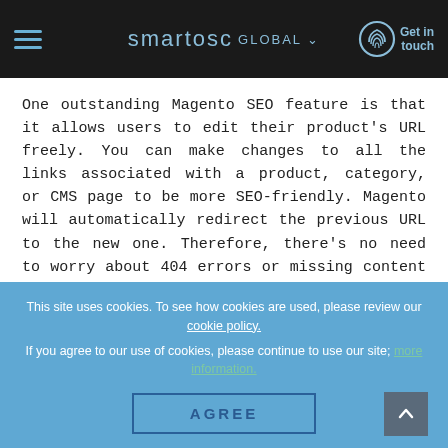smartosc GLOBAL — Get in touch
One outstanding Magento SEO feature is that it allows users to edit their product's URL freely. You can make changes to all the links associated with a product, category, or CMS page to be more SEO-friendly. Magento will automatically redirect the previous URL to the new one. Therefore, there's no need to worry about 404 errors or missing content on your website after the changes. Something more to remember is that Magento automatically generates code to your products' URLs. To
This site uses cookies. To see how cookies are used, please review our cookie policy.

If you agree to our use of cookies, please continue to use our site; more information.
AGREE